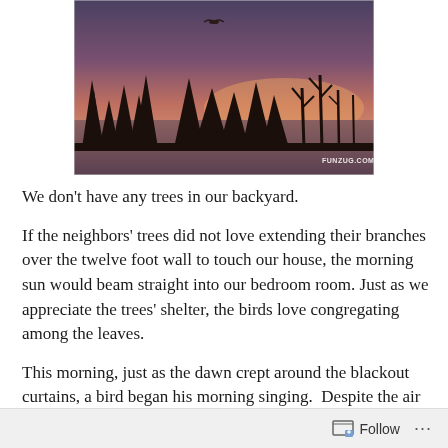[Figure (photo): A sunset or dusk landscape photo showing silhouetted trees against a pink-purple sky, with a bird in flight near the top. Watermark reads FUNZUG.COM in bottom right corner.]
We don't have any trees in our backyard.
If the neighbors' trees did not love extending their branches over the twelve foot wall to touch our house, the morning sun would beam straight into our bedroom room. Just as we appreciate the trees' shelter, the birds love congregating among the leaves.
This morning, just as the dawn crept around the blackout curtains, a bird began his morning singing.  Despite the air
Follow ···